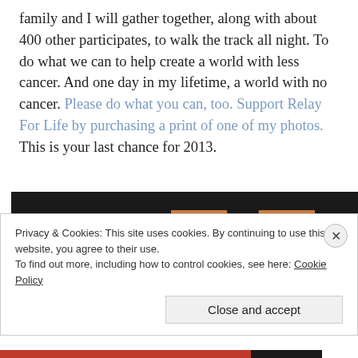family and I will gather together, along with about 400 other participates, to walk the track all night. To do what we can to help create a world with less cancer. And one day in my lifetime, a world with no cancer. Please do what you can, too. Support Relay For Life by purchasing a print of one of my photos. This is your last chance for 2013.
[Figure (photo): Photo showing a luminaria bag or card with 'AUNT' written on it in large letters and smaller handwritten text above, on a dark background. To the right is an orange/tan background with 'In h' text visible.]
Privacy & Cookies: This site uses cookies. By continuing to use this website, you agree to their use.
To find out more, including how to control cookies, see here: Cookie Policy
Close and accept